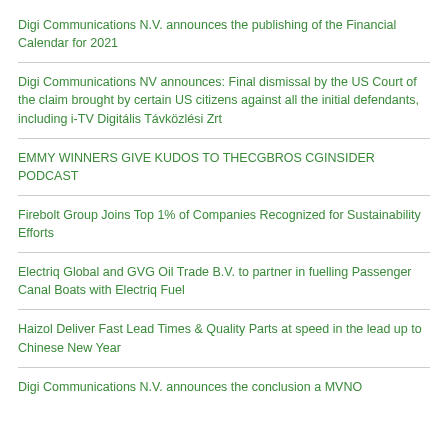Digi Communications N.V. announces the publishing of the Financial Calendar for 2021
Digi Communications NV announces: Final dismissal by the US Court of the claim brought by certain US citizens against all the initial defendants, including i-TV Digitális Távközlési Zrt
EMMY WINNERS GIVE KUDOS TO THECGBROS CGINSIDER PODCAST
Firebolt Group Joins Top 1% of Companies Recognized for Sustainability Efforts
Electriq Global and GVG Oil Trade B.V. to partner in fuelling Passenger Canal Boats with Electriq Fuel
Haizol Deliver Fast Lead Times & Quality Parts at speed in the lead up to Chinese New Year
Digi Communications N.V. announces the conclusion a MVNO